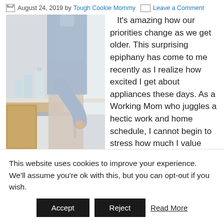August 24, 2019 by Tough Cookie Mommy   Leave a Comment
[Figure (photo): Woman in light blue shirt reaching toward kitchen appliance/dishwasher, bright kitchen background]
It's amazing how our priorities change as we get older. This surprising epiphany has come to me recently as I realize how excited I get about appliances these days. As a Working Mom who juggles a hectic work and home schedule, I cannot begin to stress how much I value anything that makes my life
This website uses cookies to improve your experience. We'll assume you're ok with this, but you can opt-out if you wish.
Accept   Reject   Read More